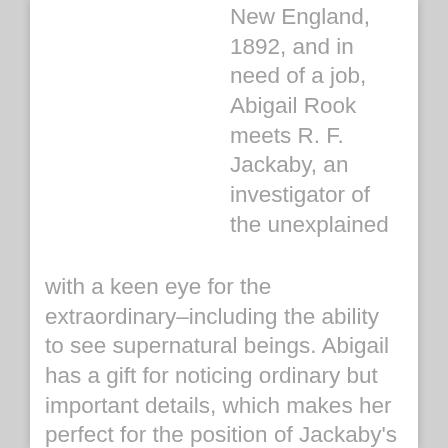New England, 1892, and in need of a job, Abigail Rook meets R. F. Jackaby, an investigator of the unexplained with a keen eye for the extraordinary–including the ability to see supernatural beings. Abigail has a gift for noticing ordinary but important details, which makes her perfect for the position of Jackaby's assistant. On her first day, Abigail finds herself in the midst of a thrilling case: A serial killer is on the loose. The police are convinced it's an ordinary villain, but Jackaby